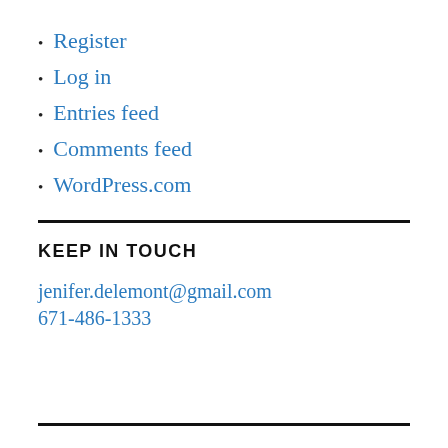Register
Log in
Entries feed
Comments feed
WordPress.com
KEEP IN TOUCH
jenifer.delemont@gmail.com
671-486-1333